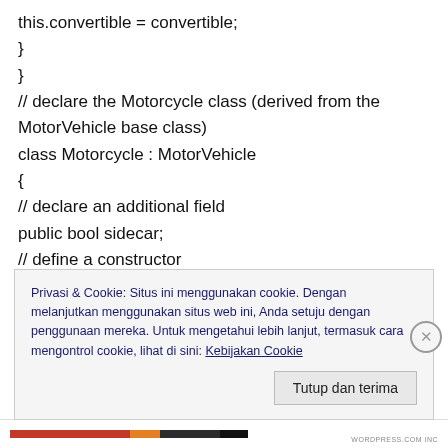this.convertible = convertible;
}
}
// declare the Motorcycle class (derived from the MotorVehicle base class)
class Motorcycle : MotorVehicle
{
// declare an additional field
public bool sidecar;
// define a constructor
public Motorcycle(string make, string model, bool sidecar)
Privasi & Cookie: Situs ini menggunakan cookie. Dengan melanjutkan menggunakan situs web ini, Anda setuju dengan penggunaan mereka. Untuk mengetahui lebih lanjut, termasuk cara mengontrol cookie, lihat di sini: Kebijakan Cookie
Tutup dan terima